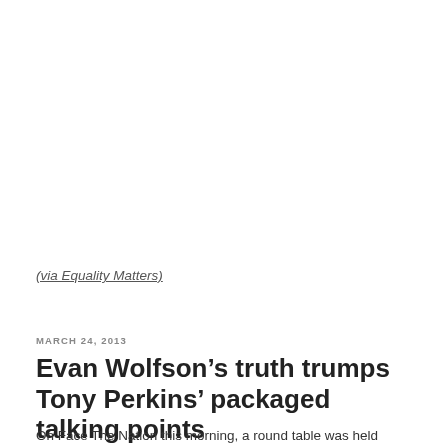(via Equality Matters)
MARCH 24, 2013
Evan Wolfson’s truth trumps Tony Perkins’ packaged talking points
On Face The Nation this morning, a round table was held discussing the supreme court cases related to the